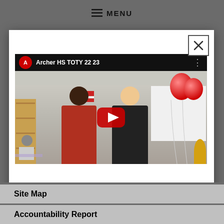MENU
[Figure (screenshot): YouTube video thumbnail showing 'Archer HS TOTY 22 23' with two people standing in a classroom with red balloons and a YouTube play button overlay. A close/X button is in the top right corner of a modal dialog.]
Site Map
Accountability Report